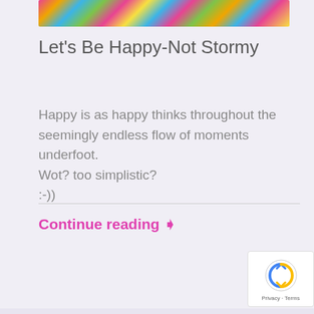[Figure (illustration): Colorful decorative illustration strip at the top of the page, showing bright multi-colored doodle art]
Let's Be Happy-Not Stormy
Happy is as happy thinks throughout the seemingly endless flow of moments underfoot.
Wot? too simplistic?
:-))
Continue reading ❯